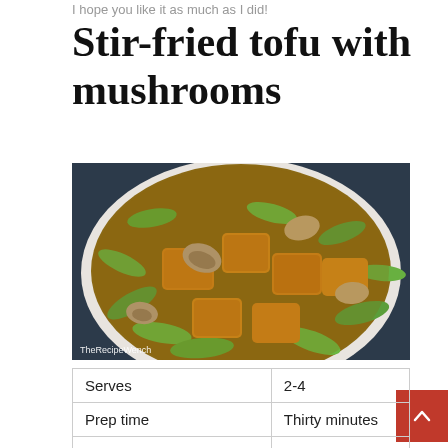I hope you like it as much as I did!
Stir-fried tofu with mushrooms
[Figure (photo): A bowl of stir-fried tofu with mushrooms and snow peas in a savory sauce, photographed from above. Watermark reads 'TheRecipeWench'.]
| Serves | 2-4 |
| Prep time | Thirty minutes |
| Cook time | Time: 20 minutes |